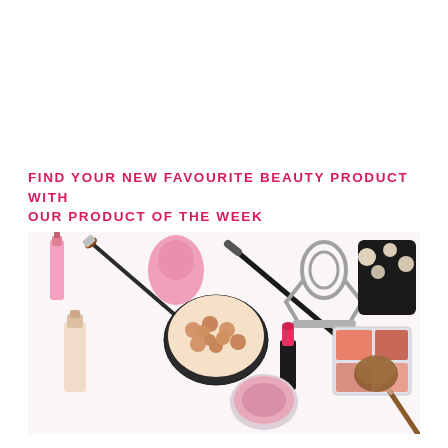FIND YOUR NEW FAVOURITE BEAUTY PRODUCT WITH OUR PRODUCT OF THE WEEK
[Figure (photo): Flat lay of various beauty and makeup products on a white background, including nail polish, makeup brushes, a beauty blender sponge, bronzer ball palette, mascara wand, eyelash curler, lipstick, foundation bottle, a compact powder, a quad eyeshadow/blush palette, a black makeup bag with pearls, and a powder brush.]